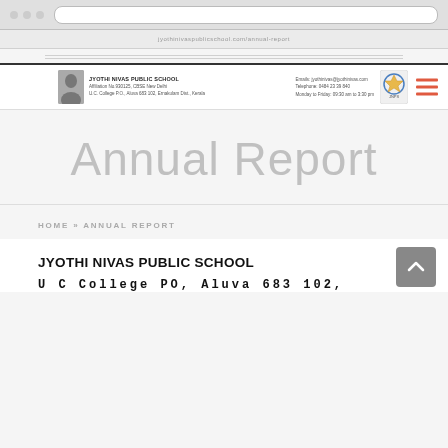Browser chrome / navigation bar (UI)
[Figure (screenshot): School website header with photo of woman, school name 'JYOTHI NIVAS PUBLIC SCHOOL', address, contact info, school logo/crest, and hamburger menu icon]
Annual Report
HOME » ANNUAL REPORT
JYOTHI NIVAS PUBLIC SCHOOL
U C College PO, Aluva 683 102,